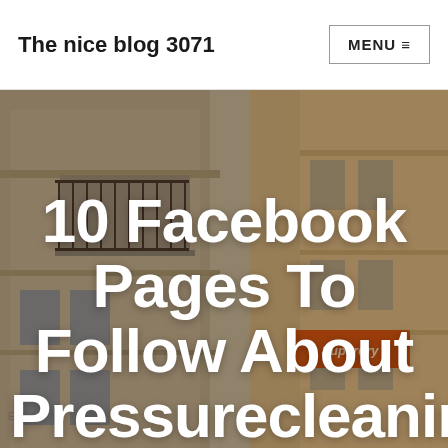The nice blog 3071 | MENU ≡
[Figure (photo): Street-level photo of a European-style building facade with balcony, warm golden sunlight on the right, and a Superdry store sign visible in the background. Overlaid with large white bold text.]
10 Facebook Pages To Follow About Pressurecleaning